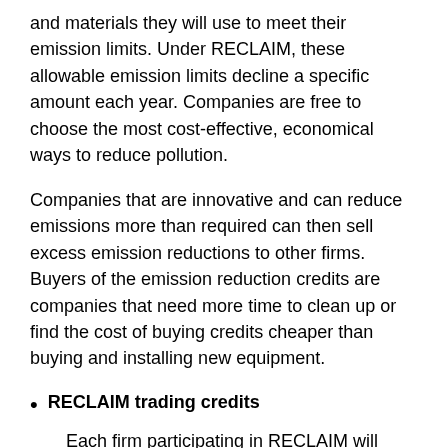and materials they will use to meet their emission limits. Under RECLAIM, these allowable emission limits decline a specific amount each year. Companies are free to choose the most cost-effective, economical ways to reduce pollution.
Companies that are innovative and can reduce emissions more than required can then sell excess emission reductions to other firms. Buyers of the emission reduction credits are companies that need more time to clean up or find the cost of buying credits cheaper than buying and installing new equipment.
RECLAIM trading credits
Each firm participating in RECLAIM will receive RECLAIM trading credits equal to its annual emissions limit. Credits are assigned based on past